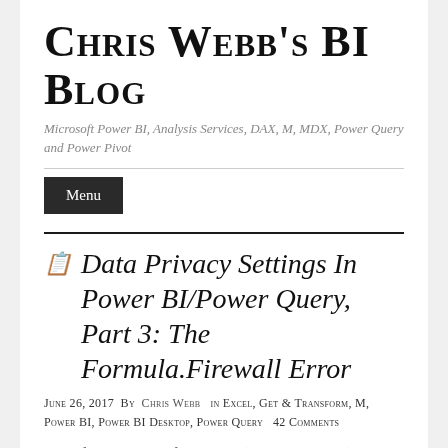Chris Webb's BI Blog
Microsoft Power BI, Analysis Services, DAX, M, MDX, Power Query and Power Pivot
Menu
Data Privacy Settings In Power BI/Power Query, Part 3: The Formula.Firewall Error
June 26, 2017  By  Chris Webb   in Excel, Get & Transform, M, Power BI, Power BI Desktop, Power Query   42 Comments
In the first two parts of this series (see here and here) I showed how Power BI/Power Query/Excel Get & Transform's data privacy settings can influence whether query folding takes place or even whether a query